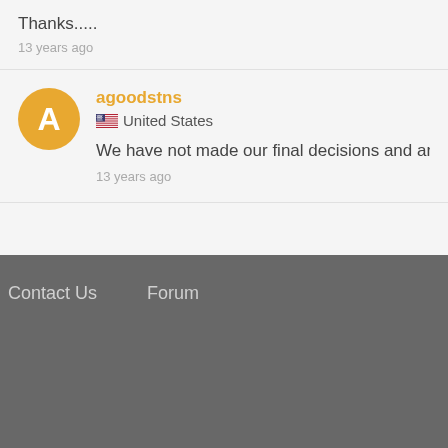Thanks.....
13 years ago
agoodstns
United States
We have not made our final decisions and are re rankin
13 years ago
Contact Us   Forum